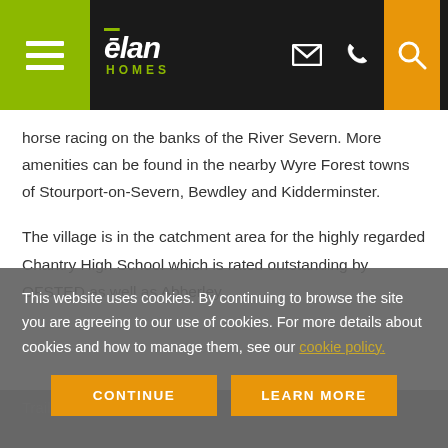elan HOMES - navigation header with menu, logo, email, phone, search icons
horse racing on the banks of the River Severn. More amenities can be found in the nearby Wyre Forest towns of Stourport-on-Severn, Bewdley and Kidderminster.
The village is in the catchment area for the highly regarded Chantry High School which is rated outstanding by OFSTED as well as Abberley...
This website uses cookies. By continuing to browse the site you are agreeing to our use of cookies. For more details about cookies and how to manage them, see our cookie policy.
CONTINUE | LEARN MORE